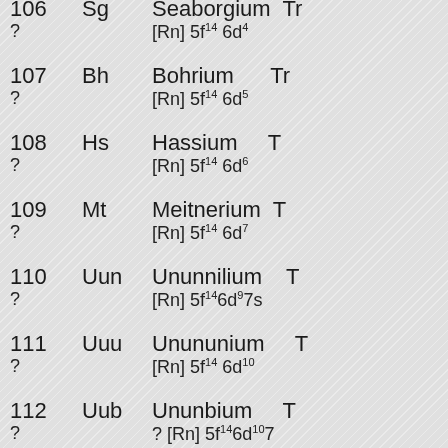| Atomic Number | Symbol | Name | Electron Configuration |
| --- | --- | --- | --- |
| 106 | Sg | Seaborgium | [Rn] 5f14 6d4... |
| ? |  | [Rn] 5f14 6d4 |  |
| 107 | Bh | Bohrium | [Rn] 5f14 6d5... |
| ? |  | [Rn] 5f14 6d5 |  |
| 108 | Hs | Hassium | [Rn] 5f14 6d6... |
| ? |  | [Rn] 5f14 6d6 |  |
| 109 | Mt | Meitnerium | [Rn] 5f14 6d7... |
| ? |  | [Rn] 5f14 6d7 |  |
| 110 | Uun | Ununnilium | [Rn] 5f14 6d9 7s... |
| ? |  | [Rn] 5f14 6d9 7s |  |
| 111 | Uuu | Unununium | [Rn] 5f14 6d10... |
| ? |  | [Rn] 5f14 6d10 |  |
| 112 | Uub | Ununbium | ? [Rn] 5f14 6d10 7... |
| ? |  | ? [Rn] 5f14 6d10 7 |  |
| 113 | ? | ? | ? [Rn]... 7p1 |
| ? |  | ? [Rn]... 7p1 |  |
| 114 | Uuq | Ununquadium | ? |